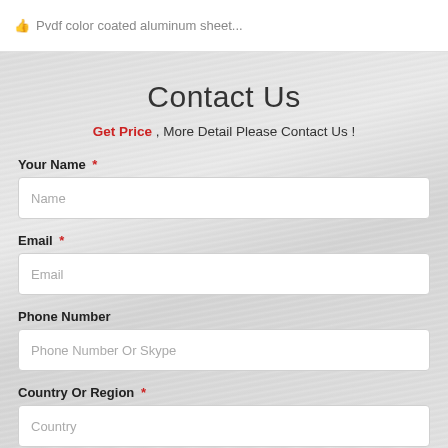Pvdf color coated aluminum sheet...
Contact Us
Get Price , More Detail Please Contact Us !
Your Name *
Name
Email *
Email
Phone Number
Phone Number Or Skype
Country Or Region *
Country